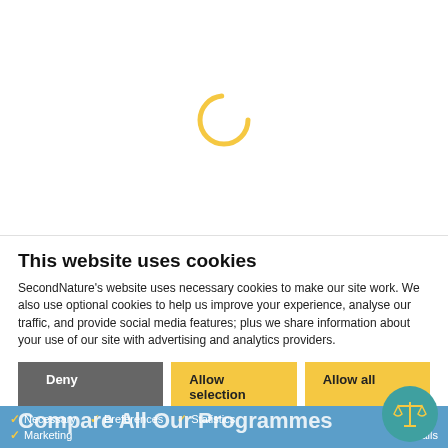[Figure (other): Loading spinner - yellow/gold arc circle on white background]
This website uses cookies
SecondNature's website uses necessary cookies to make our site work. We also use optional cookies to help us improve your experience, analyse our traffic, and provide social media features; plus we share information about your use of our site with advertising and analytics providers.
Deny | Allow selection | Allow all
Necessary  Preferences  Statistics  Marketing  Show details